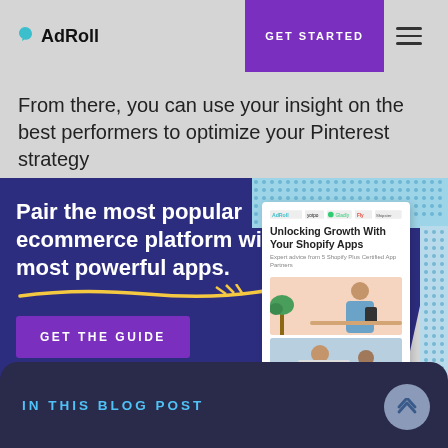AdRoll | GET STARTED
From there, you can use your insight on the best performers to optimize your Pinterest strategy
[Figure (infographic): AdRoll advertisement banner: 'Pair the most popular ecommerce platform with its most powerful apps.' with GET THE GUIDE button and book cover showing 'Unlocking Growth With Your Shopify Apps']
of implementing a social media strategy is consistent posting. The Pinterest algorithm
IN THIS BLOG POST